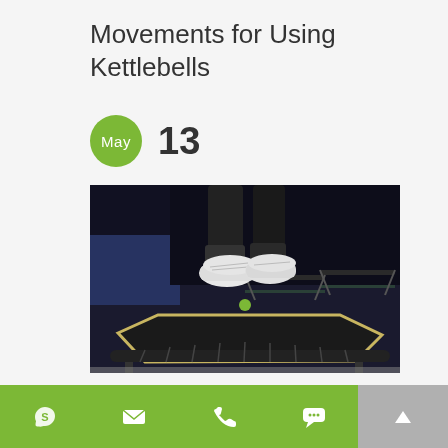Movements for Using Kettlebells
May 13
[Figure (photo): Person jumping on a mini trampoline in a gym, wearing white sneakers and dark pants, with multiple trampolines visible in the background.]
What is a Kettlebell?
Navigation bar with icons: Skype, email, phone, chat, scroll-up